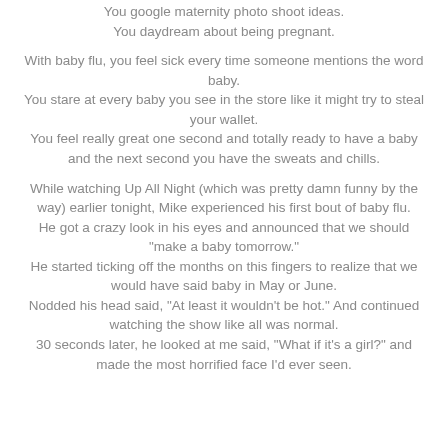You google maternity photo shoot ideas.
You daydream about being pregnant.
With baby flu, you feel sick every time someone mentions the word baby.
You stare at every baby you see in the store like it might try to steal your wallet.
You feel really great one second and totally ready to have a baby and the next second you have the sweats and chills.
While watching Up All Night (which was pretty damn funny by the way) earlier tonight, Mike experienced his first bout of baby flu.
He got a crazy look in his eyes and announced that we should "make a baby tomorrow."
He started ticking off the months on this fingers to realize that we would have said baby in May or June.
Nodded his head said, "At least it wouldn't be hot." And continued watching the show like all was normal.
30 seconds later, he looked at me said, "What if it's a girl?" and made the most horrified face I'd ever seen.